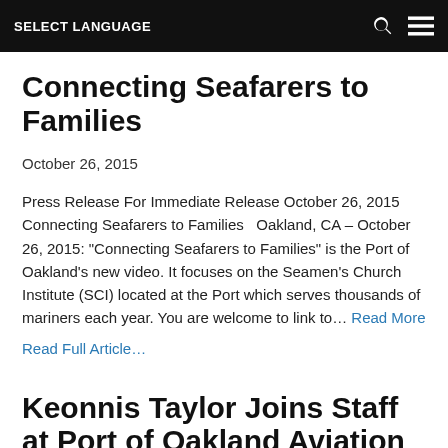SELECT LANGUAGE
Connecting Seafarers to Families
October 26, 2015
Press Release For Immediate Release October 26, 2015 Connecting Seafarers to Families   Oakland, CA – October 26, 2015: “Connecting Seafarers to Families” is the Port of Oakland’s new video. It focuses on the Seamen’s Church Institute (SCI) located at the Port which serves thousands of mariners each year. You are welcome to link to… Read More
Read Full Article…
Keonnis Taylor Joins Staff at Port of Oakland Aviation Division